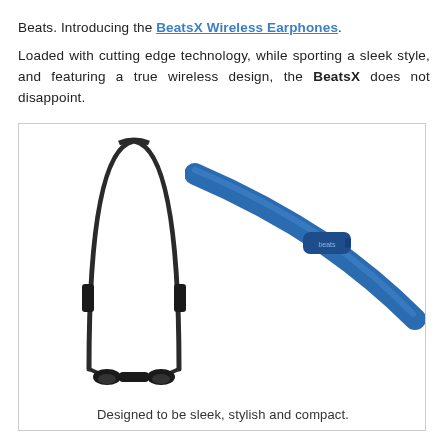Beats. Introducing the BeatsX Wireless Earphones.
Loaded with cutting edge technology, while sporting a sleek style, and featuring a true wireless design, the BeatsX does not disappoint.
[Figure (photo): Two product photos side by side: on the left, a black BeatsX wireless neckband earphones shown in a U-shape; on the right, a close-up of the blue BeatsX cable with inline control module.]
Designed to be sleek, stylish and compact.